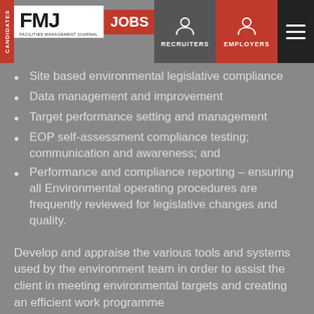FMJ JOBS | CANDIDATES | RECRUITERS | EMPLOYERS
Site based environmental legislative compliance
Data management and improvement
Target performance setting and management
EOP self-assessment compliance testing; communication and awareness; and
Performance and compliance reporting – ensuring all Environmental operating procedures are frequently reviewed for legislative changes and quality.
Develop and appraise the various tools and systems used by the environment team in order to assist the client in meeting environmental targets and creating an efficient work programme
Provide recommendations and regular feedback to improve workplace sustainability initiatives and